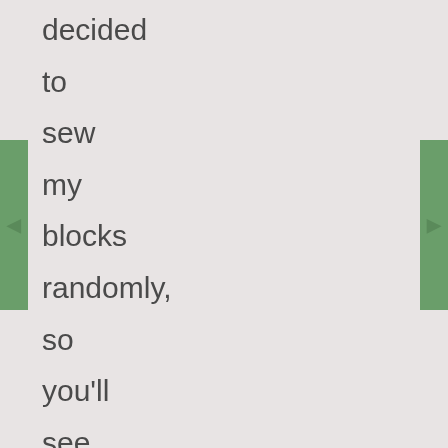decided to sew my blocks randomly, so you'll see sections where the blocks are put together and prints are aligned with